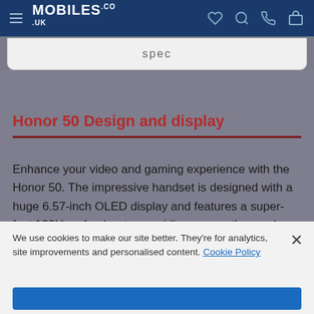MOBILES.CO.UK
spec
Honor 50 Design and display
Enhance your video and gaming experience with the Honor 50. The impressive handset is designed with a huge 6.57-inch OLED display and features a super-fast 120Hz refresh rate, providing a smooth seamless user experience. The stylish curved screen
We use cookies to make our site better. They're for analytics, site improvements and personalised content. Cookie Policy